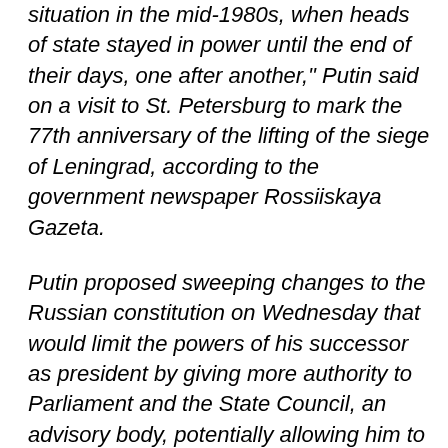situation in the mid-1980s, when heads of state stayed in power until the end of their days, one after another," Putin said on a visit to St. Petersburg to mark the 77th anniversary of the lifting of the siege of Leningrad, according to the government newspaper Rossiiskaya Gazeta.
Putin proposed sweeping changes to the Russian constitution on Wednesday that would limit the powers of his successor as president by giving more authority to Parliament and the State Council, an advisory body, potentially allowing him to keep control of the country in another role. He also put forward a plan to tighten